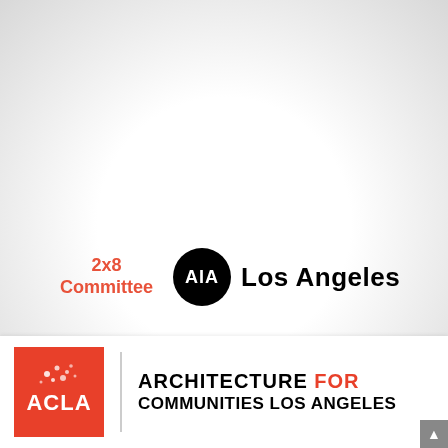[Figure (logo): 2x8 Committee text in red/coral color alongside AIA Los Angeles logo (black circle with AIA text and Los Angeles wordmark)]
[Figure (logo): ACLA (Architecture for Communities Los Angeles) logo: red square with ACLA text and floral graphic, vertical divider, then ARCHITECTURE FOR COMMUNITIES LOS ANGELES text]